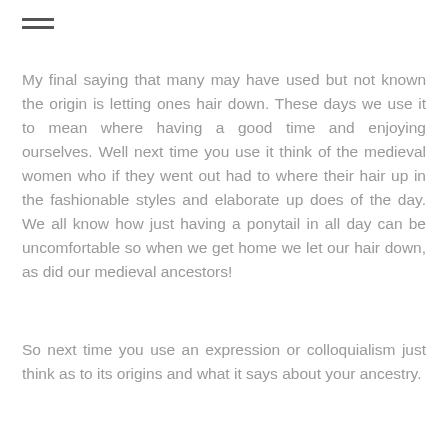[Figure (other): Hamburger menu icon with three horizontal lines]
My final saying that many may have used but not known the origin is letting ones hair down. These days we use it to mean where having a good time and enjoying ourselves. Well next time you use it think of the medieval women who if they went out had to where their hair up in the fashionable styles and elaborate up does of the day. We all know how just having a ponytail in all day can be uncomfortable so when we get home we let our hair down, as did our medieval ancestors!
So next time you use an expression or colloquialism just think as to its origins and what it says about your ancestry.